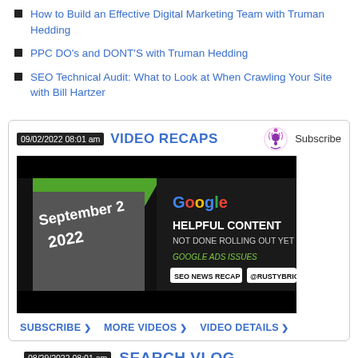How to Build an Effective Digital Marketing Team with Truman Hedding
PPC DO's and DONT'S with Truman Hedding
SEO Technical Audit: What to Look at When Crawling Your Site with Bill Hartzer
SEARCH VIDEO RECAPS
[Figure (screenshot): Video thumbnail showing a man outdoors with text: September 2 2022, Google HELPFUL CONTENT NOT DONE ROLLING OUT YET, GOOGLE ADS ISSUES, SEO NEWS RECAP, @RUSTYBRICK]
SUBSCRIBE   MORE VIDEOS   VIDEO DETAILS
SEARCH VLOG